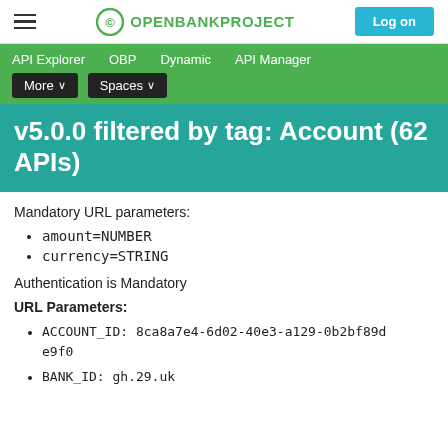OPENBANKPROJECT | Log on
API Explorer   OBP   Dynamic   API Manager   More ∨   Spaces ∨
v5.0.0 filtered by tag: Account (62 APIs)
Mandatory URL parameters:
amount=NUMBER
currency=STRING
Authentication is Mandatory
URL Parameters:
ACCOUNT_ID: 8ca8a7e4-6d02-40e3-a129-0b2bf89de9f0
BANK_ID: gh.29.uk